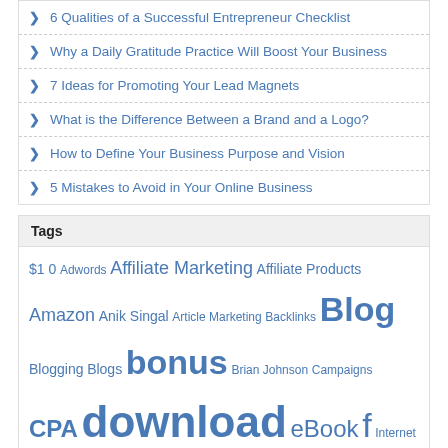6 Qualities of a Successful Entrepreneur Checklist
Why a Daily Gratitude Practice Will Boost Your Business
7 Ideas for Promoting Your Lead Magnets
What is the Difference Between a Brand and a Logo?
How to Define Your Business Purpose and Vision
5 Mistakes to Avoid in Your Online Business
Tags
$1 0 Adwords Affiliate Marketing Affiliate Products Amazon Anik Singal Article Marketing Backlinks Blog Blogging Blogs bonus Brian Johnson Campaigns CPA download eBook f Internet Marketer Internet Marketers Mark Dulisse Marketer Marketing Marketing Product Michael Cheney Money Niche Markets Page Ebook Paul Ponna PPC Private Label Product Creation Product Launch Purchasing Review Search Engine Optimization SEO Social Marketing Software Product Traffic Video Marketing Videos Video Series Warrior Forum